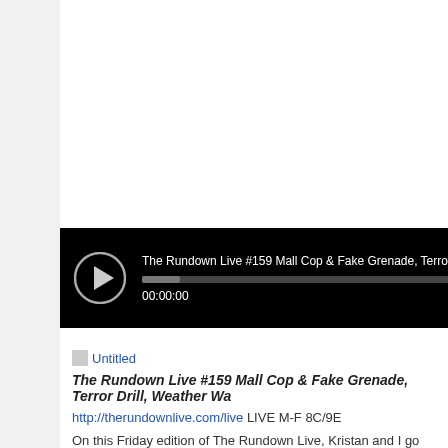[Figure (screenshot): Audio player bar with play button, progress bar showing 00:00:00, title: The Rundown Live #159 Mall Cop & Fake Grenade, Terror Drill, Weather Wa...]
[Figure (other): Small image placeholder labeled Untitled]
The Rundown Live #159 Mall Cop & Fake Grenade, Terror Drill, Weather Wa
http://therundownlive.com/live LIVE M-F 8C/9E
On this Friday edition of The Rundown Live, Kristan and I go over some news wi... recommend and subscribe!
Subscribe
http://tunein.com/station/?StationId=206057
DONATE BITCOIN TO #RUNDOWNLIVE
[Figure (other): Small image placeholder labeled rundownbitc]
1DqaUC81xg8WMsU2udHThkKHHYgDn3PG8H